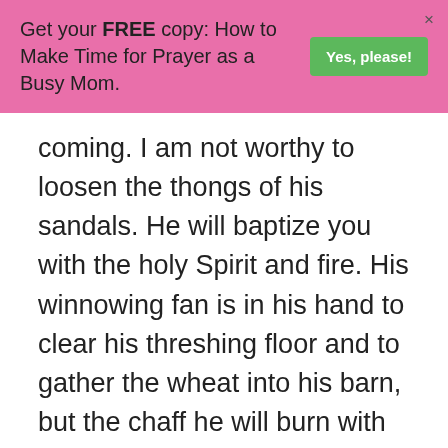Get your FREE copy: How to Make Time for Prayer as a Busy Mom. Yes, please!
coming. I am not worthy to loosen the thongs of his sandals. He will baptize you with the holy Spirit and fire. His winnowing fan is in his hand to clear his threshing floor and to gather the wheat into his barn, but the chaff he will burn with unquenchable fire.” Exhorting them in
We use cookies on our website to give you the most relevant experience by remembering your preferences and repeat visits. By clicking “Accept”, you consent to the use of ALL the cookies.
Do not sell my personal information.
Cookie Settings  Accept